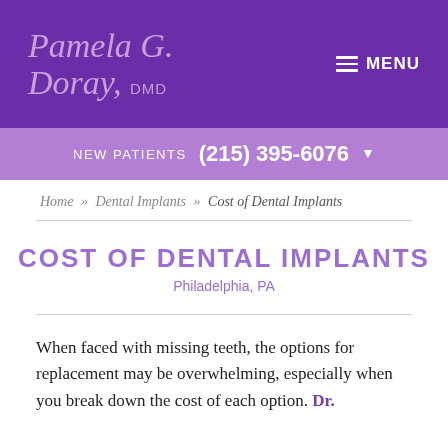Pamela G. Doray, DMD
NEW PATIENTS  (215) 395-6076
Home » Dental Implants » Cost of Dental Implants
COST OF DENTAL IMPLANTS
Philadelphia, PA
When faced with missing teeth, the options for replacement may be overwhelming, especially when you break down the cost of each option. Dr.